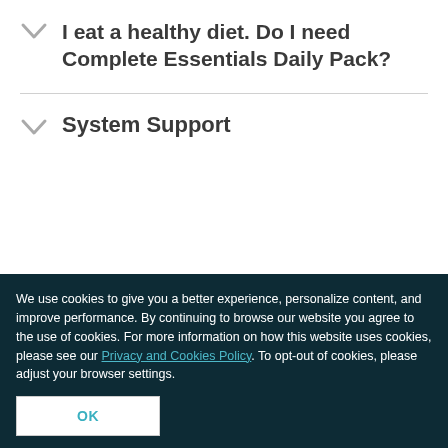I eat a healthy diet. Do I need Complete Essentials Daily Pack?
System Support
† This statement has not been evaluated by the Food and Drug...
We use cookies to give you a better experience, personalize content, and improve performance. By continuing to browse our website you agree to the use of cookies. For more information on how this website uses cookies, please see our Privacy and Cookies Policy. To opt-out of cookies, please adjust your browser settings.